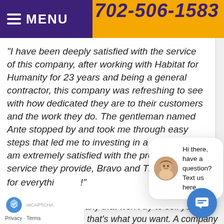MENU  702-506-1583
“I have been deeply satisfied with the service of this company, after working with Habitat for Humanity for 23 years and being a general contractor, this company was refreshing to see with how dedicated they are to their customers and the work they do. The gentleman named Ante stopped by and took me through easy steps that led me to investing in a new unit , I am extremely satisfied with the product and the service they provide, Bravo and Thank you for everyth... !”
Hi there, have a question? Text us here.
...eat service from hard working, honest and do... ...arth people & company that won’t try to sell yo... ...the moon. Unless that’s what you want. A company
Privacy · Terms